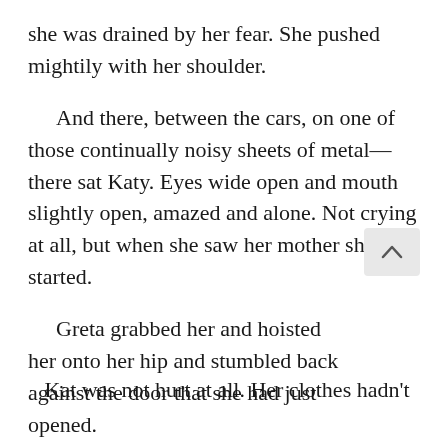she was drained by her fear. She pushed mightily with her shoulder.
And there, between the cars, on one of those continually noisy sheets of metal—there sat Katy. Eyes wide open and mouth slightly open, amazed and alone. Not crying at all, but when she saw her mother she started.
Greta grabbed her and hoisted her onto her hip and stumbled back against the door that she had just opened.
All of the cars had names, to commemorate battles or explorations or illustrious Canadians. The name of their car was Connaught. She would never forget that.
Kat was not hurt at all. Her clothes hadn't